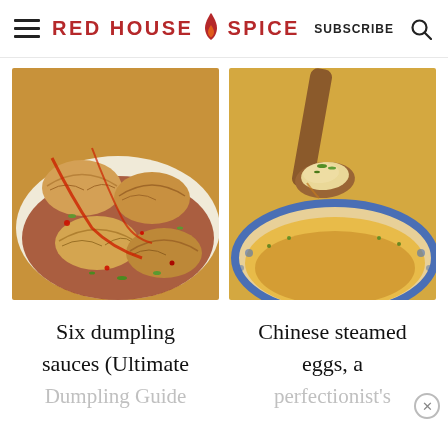RED HOUSE SPICE  SUBSCRIBE
[Figure (photo): Close-up photo of Chinese dumplings in a white bowl with red chili oil sauce and green onions]
[Figure (photo): Close-up photo of Chinese steamed eggs in a blue and white bowl, with a wooden spoon lifting a silky egg custard piece topped with green onions]
Six dumpling sauces (Ultimate Dumpling Guide
Chinese steamed eggs, a perfectionist's